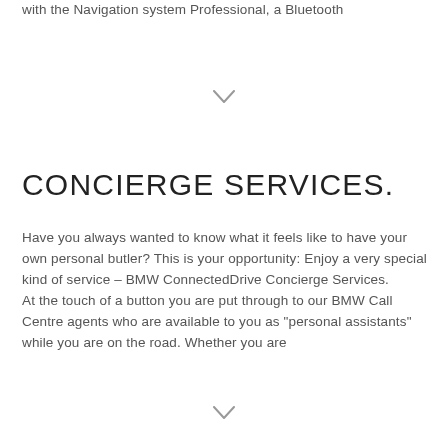with the Navigation system Professional, a Bluetooth
CONCIERGE SERVICES.
Have you always wanted to know what it feels like to have your own personal butler? This is your opportunity: Enjoy a very special kind of service – BMW ConnectedDrive Concierge Services.
At the touch of a button you are put through to our BMW Call Centre agents who are available to you as "personal assistants" while you are on the road. Whether you are